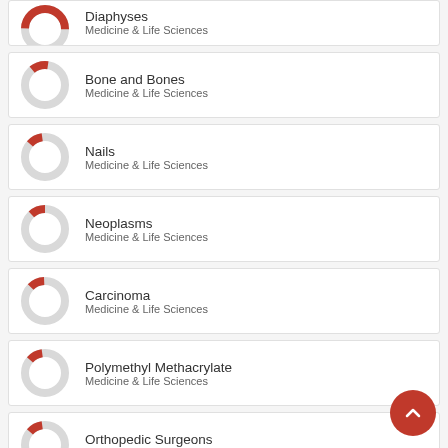[Figure (donut-chart): Partial donut chart with red segment, top cropped — Diaphyses, Medicine & Life Sciences]
[Figure (donut-chart): Donut chart with small red segment — Bone and Bones, Medicine & Life Sciences]
[Figure (donut-chart): Donut chart with small red segment — Nails, Medicine & Life Sciences]
[Figure (donut-chart): Donut chart with small red segment — Neoplasms, Medicine & Life Sciences]
[Figure (donut-chart): Donut chart with small red segment — Carcinoma, Medicine & Life Sciences]
[Figure (donut-chart): Donut chart with small red segment — Polymethyl Methacrylate, Medicine & Life Sciences]
[Figure (donut-chart): Donut chart with small red segment — Orthopedic Surgeons, Medicine & Life Sciences]